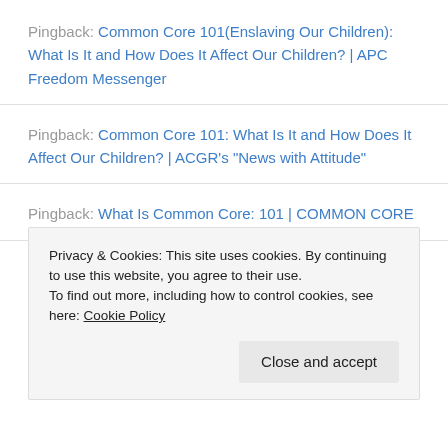Pingback: Common Core 101(Enslaving Our Children): What Is It and How Does It Affect Our Children? | APC Freedom Messenger
Pingback: Common Core 101: What Is It and How Does It Affect Our Children? | ACGR's "News with Attitude"
Pingback: What Is Common Core: 101 | COMMON CORE
Privacy & Cookies: This site uses cookies. By continuing to use this website, you agree to their use.
To find out more, including how to control cookies, see here: Cookie Policy
Close and accept